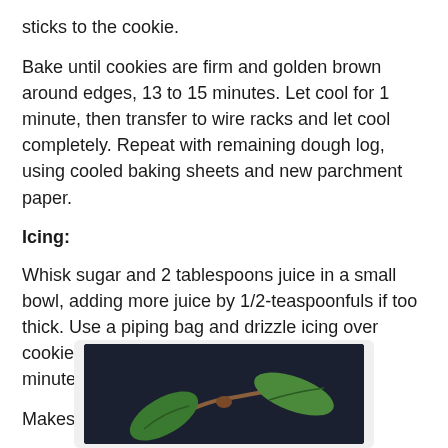sticks to the cookie.
Bake until cookies are firm and golden brown around edges, 13 to 15 minutes. Let cool for 1 minute, then transfer to wire racks and let cool completely. Repeat with remaining dough log, using cooled baking sheets and new parchment paper.
Icing:
Whisk sugar and 2 tablespoons juice in a small bowl, adding more juice by 1/2-teaspoonfuls if too thick. Use a piping bag and drizzle icing over cookies. Let stand until icing sets, about 10 minutes
Makes about 50 cookies
* Slightly adapted from Bon Appetite
[Figure (photo): Photo of a plant with green leaves and a brown stem or branch on a dark background]